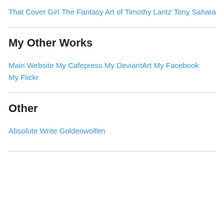That Cover Girl
The Fantasy Art of Timothy Lantz
Tony Sahara
My Other Works
Main Website
My Cafepress
My DeviantArt
My Facebook
My Flickr
Other
Absolute Write
Goldenwolfen